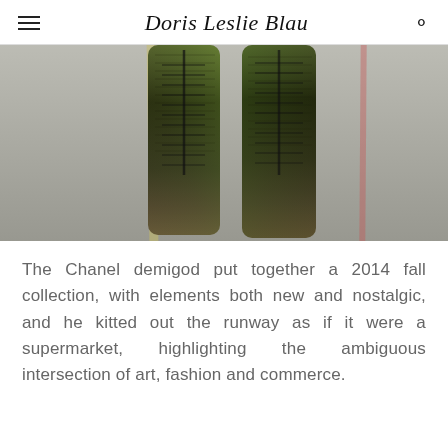Doris Leslie Blau
[Figure (photo): Close-up photograph of two legs wearing ornate metallic lace-up knee-high boots with iridescent green and gold detailing, walking on a grey runway floor with yellow and red stripe markings.]
The Chanel demigod put together a 2014 fall collection, with elements both new and nostalgic, and he kitted out the runway as if it were a supermarket, highlighting the ambiguous intersection of art, fashion and commerce.